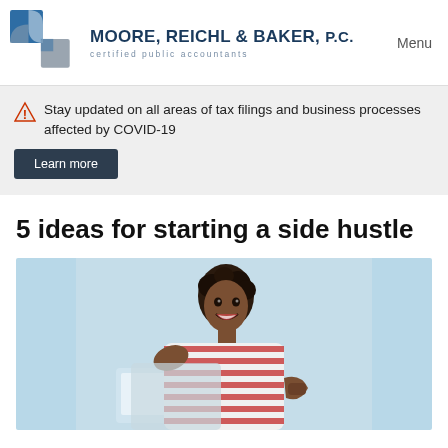[Figure (logo): Moore, Reichl & Baker, P.C. certified public accountants logo with abstract puzzle-piece icon in blue and gray]
Menu
Stay updated on all areas of tax filings and business processes affected by COVID-19
Learn more
5 ideas for starting a side hustle
[Figure (photo): Young woman in red and white striped shirt smiling and running against a light blue background]